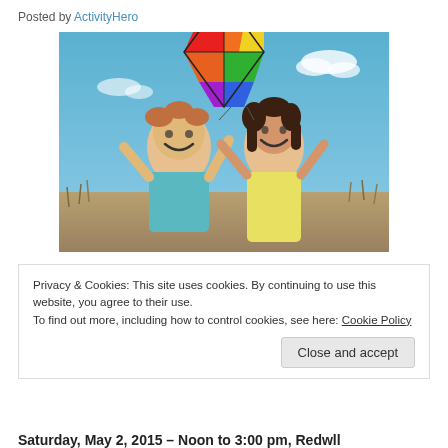Posted by ActivityHero
[Figure (photo): Two children smiling and holding a colorful rainbow kite above their heads outdoors on a sunny day]
Privacy & Cookies: This site uses cookies. By continuing to use this website, you agree to their use.
To find out more, including how to control cookies, see here: Cookie Policy
Close and accept
Saturday, May 2, 2015 – Noon to 3:00 pm, Redwll